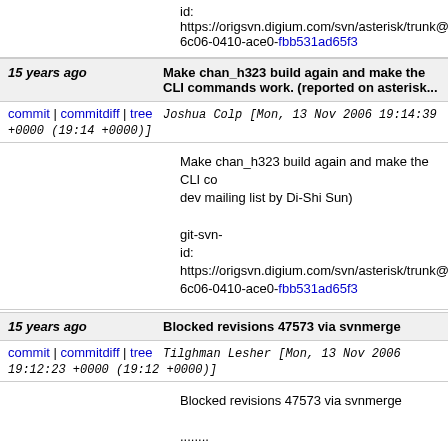id: https://origsvn.digium.com/svn/asterisk/trunk@ 6c06-0410-ace0-fbb531ad65f3
15 years ago   Make chan_h323 build again and make the CLI commands work. (reported on asterisk...
commit | commitdiff | tree   Joshua Colp [Mon, 13 Nov 2006 19:14:39 +0000 (19:14 +0000)]
Make chan_h323 build again and make the CLI co dev mailing list by Di-Shi Sun)

git-svn-id: https://origsvn.digium.com/svn/asterisk/trunk@ 6c06-0410-ace0-fbb531ad65f3
15 years ago   Blocked revisions 47573 via svnmerge
commit | commitdiff | tree   Tilghman Lesher [Mon, 13 Nov 2006 19:12:23 +0000 (19:12 +0000)]
Blocked revisions 47573 via svnmerge

........
r47573 | tilghman | 2006-11-13 13:11:15 -0600 (Mon, 13 Nov 2006) | 2 lines

Re-enable old deprecated commands